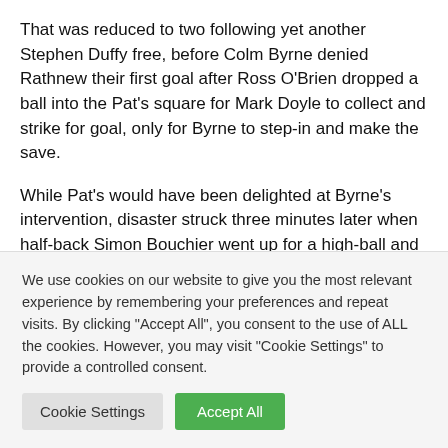That was reduced to two following yet another Stephen Duffy free, before Colm Byrne denied Rathnew their first goal after Ross O'Brien dropped a ball into the Pat's square for Mark Doyle to collect and strike for goal, only for Byrne to step-in and make the save.
While Pat's would have been delighted at Byrne's intervention, disaster struck three minutes later when half-back Simon Bouchier went up for a high-ball and came down awkwardly on his right knee, which forced Pat's into their first change of the game as Patrick O'Keane replaced
We use cookies on our website to give you the most relevant experience by remembering your preferences and repeat visits. By clicking "Accept All", you consent to the use of ALL the cookies. However, you may visit "Cookie Settings" to provide a controlled consent.